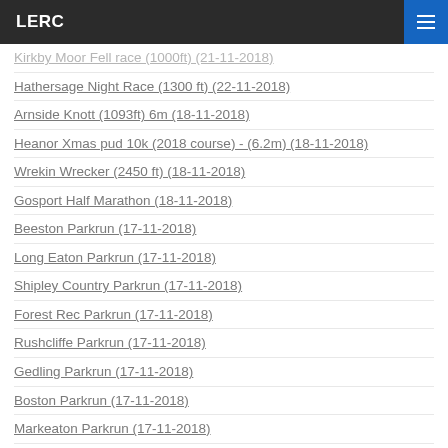LERC
Kirkby Moor Fell race (1000ft) (21-11-2018)
Hathersage Night Race (1300 ft) (22-11-2018)
Arnside Knott (1093ft) 6m (18-11-2018)
Heanor Xmas pud 10k (2018 course) - (6.2m) (18-11-2018)
Wrekin Wrecker (2450 ft) (18-11-2018)
Gosport Half Marathon (18-11-2018)
Beeston Parkrun (17-11-2018)
Long Eaton Parkrun (17-11-2018)
Shipley Country Parkrun (17-11-2018)
Forest Rec Parkrun (17-11-2018)
Rushcliffe Parkrun (17-11-2018)
Gedling Parkrun (17-11-2018)
Boston Parkrun (17-11-2018)
Markeaton Parkrun (17-11-2018)
Conkers Parkrun (17-11-2018)